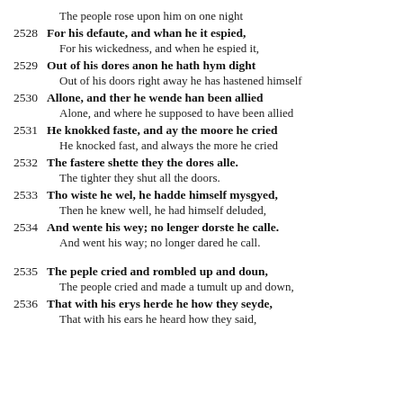The people rose upon him on one night
2528 For his defaute, and whan he it espied,
For his wickedness, and when he espied it,
2529 Out of his dores anon he hath hym dight
Out of his doors right away he has hastened himself
2530 Allone, and ther he wende han been allied
Alone, and where he supposed to have been allied
2531 He knokked faste, and ay the moore he cried
He knocked fast, and always the more he cried
2532 The fastere shette they the dores alle.
The tighter they shut all the doors.
2533 Tho wiste he wel, he hadde himself mysgyed,
Then he knew well, he had himself deluded,
2534 And wente his wey; no lenger dorste he calle.
And went his way; no longer dared he call.
2535 The peple cried and rombled up and doun,
The people cried and made a tumult up and down,
2536 That with his erys herde he how they seyde,
That with his ears he heard how they said,